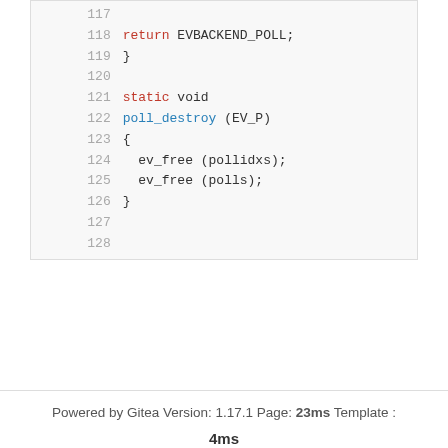[Figure (screenshot): Code viewer showing lines 117-128 of C source code with syntax highlighting. Lines include: 117 (empty), 118 return EVBACKEND_POLL;, 119 }, 120 (empty), 121 static void, 122 poll_destroy (EV_P), 123 {, 124 ev_free (pollidxs);, 125 ev_free (polls);, 126 }, 127 (empty), 128 (empty)]
Powered by Gitea Version: 1.17.1 Page: 23ms Template : 4ms
English | Licenses | API | Website